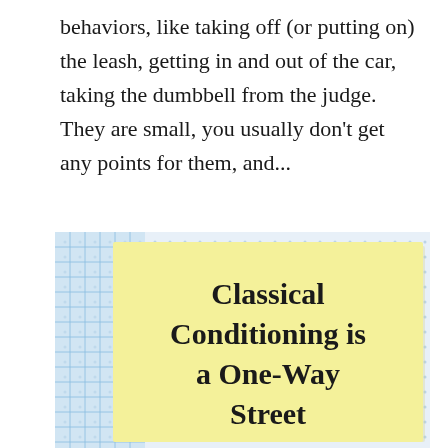behaviors, like taking off (or putting on) the leash, getting in and out of the car, taking the dumbbell from the judge. They are small, you usually don't get any points for them, and...
[Figure (illustration): A yellow sticky note overlapping a light blue dot-grid notebook paper background, with bold text reading 'Classical Conditioning is a One-Way Street']